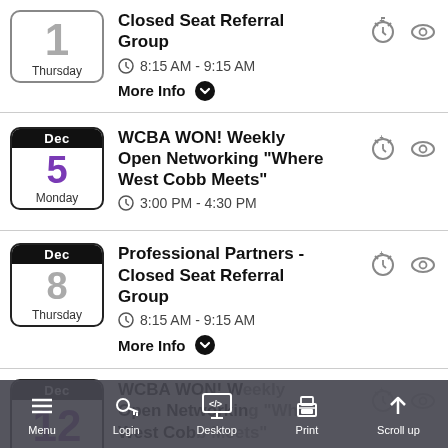1 Thursday - Closed Seat Referral Group, 8:15 AM - 9:15 AM, More Info
Dec 5 Monday - WCBA WON! Weekly Open Networking "Where West Cobb Meets", 3:00 PM - 4:30 PM
Dec 8 Thursday - Professional Partners - Closed Seat Referral Group, 8:15 AM - 9:15 AM, More Info
Dec 12 Monday - WCBA WON! Weekly Open Networking "Where West Cobb Meets"